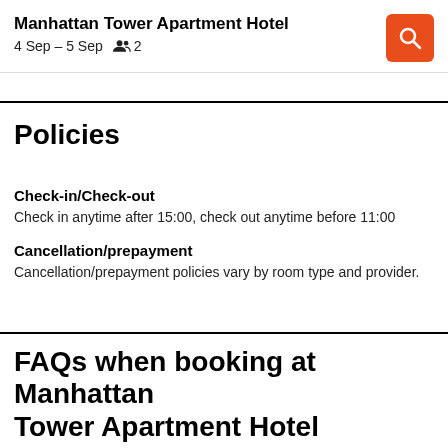Manhattan Tower Apartment Hotel
4 Sep – 5 Sep  👥 2
Policies
Check-in/Check-out
Check in anytime after 15:00, check out anytime before 11:00
Cancellation/prepayment
Cancellation/prepayment policies vary by room type and provider.
FAQs when booking at Manhattan Tower Apartment Hotel